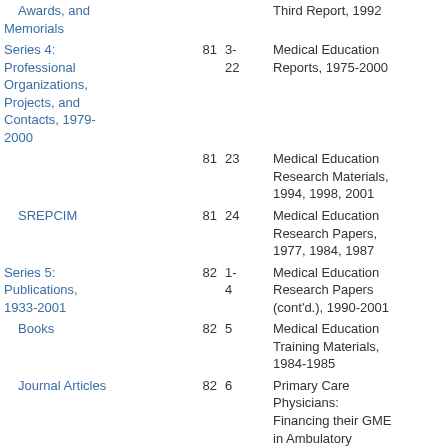| Series/Subseries | Box | Folder | Contents |
| --- | --- | --- | --- |
| Awards, and Memorials |  |  | Third Report, 1992 |
| Series 4: Professional Organizations, Projects, and Contacts, 1979-2000 | 81 | 3-22 | Medical Education Reports, 1975-2000 |
|  | 81 | 23 | Medical Education Research Materials, 1994, 1998, 2001 |
| SREPCIM | 81 | 24 | Medical Education Research Papers, 1977, 1984, 1987 |
| Series 5: Publications, 1933-2001 | 82 | 1-4 | Medical Education Research Papers (cont'd.), 1990-2001 |
| Books | 82 | 5 | Medical Education Training Materials, 1984-1985 |
| Journal Articles | 82 | 6 | Primary Care Physicians: Financing their GME in Ambulatory Settings Report, 1989 |
| Newsletters | 82 | 7 | Robert Wood Johnson Primary Care Residency Program Annual |
| Series 6: Reports and Research Papers, 1974-2002 |  |  |  |
| Health Insurance, Medicare, and Medicaid |  |  |  |